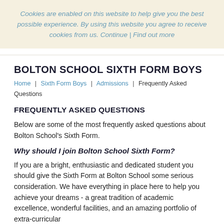Cookies are enabled on this website to help give you the best possible experience. By using this website you agree to receive cookies from us. Continue | Find out more
BOLTON SCHOOL SIXTH FORM BOYS
Home | Sixth Form Boys | Admissions | Frequently Asked Questions
FREQUENTLY ASKED QUESTIONS
Below are some of the most frequently asked questions about Bolton School's Sixth Form.
Why should I join Bolton School Sixth Form?
If you are a bright, enthusiastic and dedicated student you should give the Sixth Form at Bolton School some serious consideration. We have everything in place here to help you achieve your dreams - a great tradition of academic excellence, wonderful facilities, and an amazing portfolio of extra-curricular...